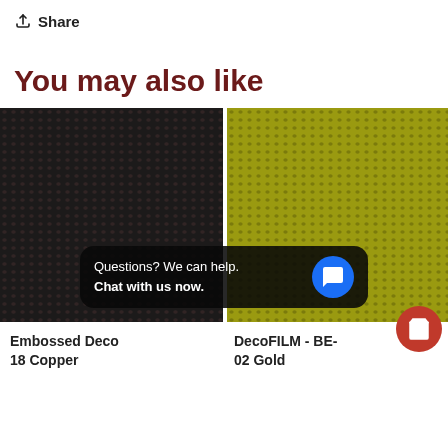Share
You may also like
[Figure (photo): Embossed dark/copper textured film material close-up (left) and golden/olive textured film material close-up (right)]
Embossed Deco 18 Copper
DecoFILM - BE-02 Gold
Questions? We can help. Chat with us now.